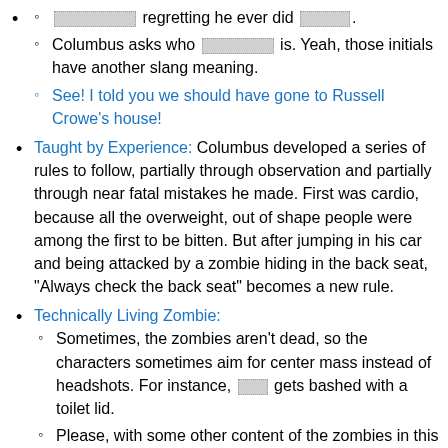[redacted] regretting he ever did [redacted].
Columbus asks who [redacted] is. Yeah, those initials have another slang meaning.
See! I told you we should have gone to Russell Crowe's house!
Taught by Experience: Columbus developed a series of rules to follow, partially through observation and partially through near fatal mistakes he made. First was cardio, because all the overweight, out of shape people were among the first to be bitten. But after jumping in his car and being attacked by a zombie hiding in the back seat, "Always check the back seat" becomes a new rule.
Technically Living Zombie:
Sometimes, the zombies aren't dead, so the characters sometimes aim for center mass instead of headshots. For instance, [redacted] gets bashed with a toilet lid.
Please, hit me content here too...